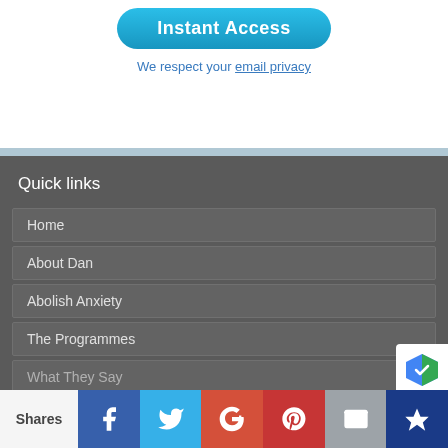[Figure (other): Blue rounded button labeled 'Instant Access']
We respect your email privacy
Quick links
Home
About Dan
Abolish Anxiety
The Programmes
What They Say
Shares | Facebook | Twitter | Google+ | Pinterest | Email | Kings